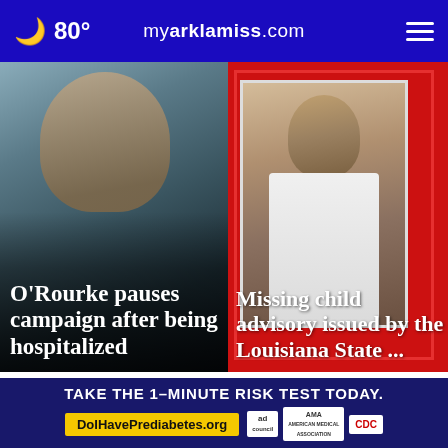🌙 80° myarklamiss.com
[Figure (photo): Man speaking into a microphone, black sweater, gray hair]
O'Rourke pauses campaign after being hospitalized
[Figure (photo): Young Black male teenager in white shirt against red background]
Missing child advisory issued by the Louisiana State ...
Top Stories >
TAKE THE 1-MINUTE RISK TEST TODAY.
DoIHavePrediabetes.org